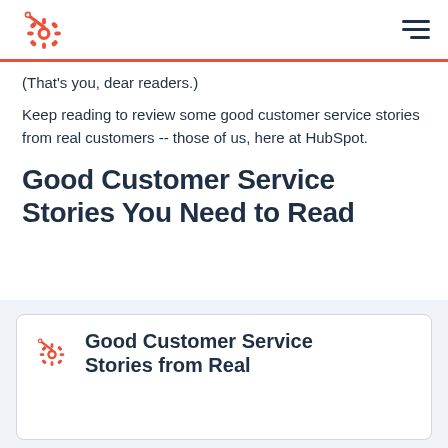HubSpot logo and navigation
(That's you, dear readers.)
Keep reading to review some good customer service stories from real customers -- those of us, here at HubSpot.
Good Customer Service Stories You Need to Read
Good Customer Service Stories from Real